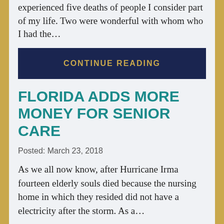experienced five deaths of people I consider part of my life.  Two were wonderful  with whom who I had the…
CONTINUE READING
FLORIDA ADDS MORE MONEY FOR SENIOR CARE
Posted: March 23, 2018
As we all now know, after Hurricane  Irma fourteen elderly souls died because the nursing home in which they resided did not have a electricity after the storm.  As a…
CONTINUE READING